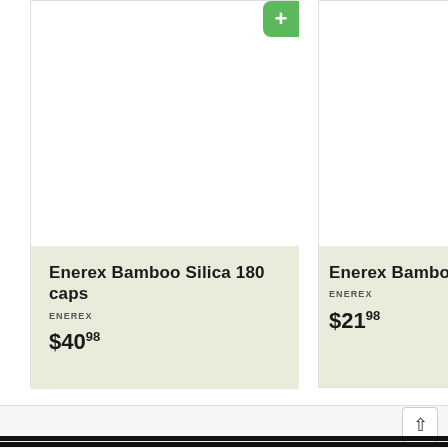[Figure (photo): Product image area for Enerex Bamboo Silica 180 caps (left card, white background)]
Enerex Bamboo Silica 180 caps
ENEREX
$40.98
[Figure (photo): Product image area for Enerex Bamboo Sili... (right card, partially visible, white background)]
Enerex Bamboo Sili
ENEREX
$21.98